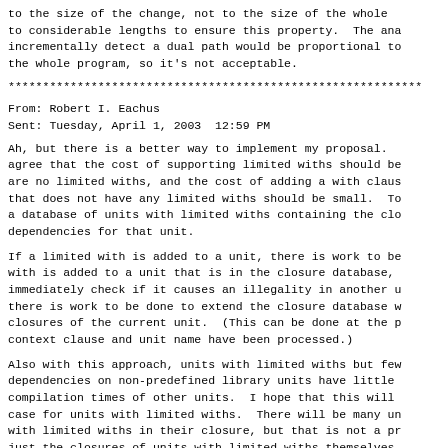to the size of the change, not to the size of the whole to considerable lengths to ensure this property. The ana incrementally detect a dual path would be proportional to the whole program, so it's not acceptable.
************************************************************
From: Robert I. Eachus
Sent: Tuesday, April 1, 2003  12:59 PM
Ah, but there is a better way to implement my proposal. agree that the cost of supporting limited withs should be are no limited withs, and the cost of adding a with claus that does not have any limited withs should be small. To a database of units with limited withs containing the clo dependencies for that unit.
If a limited with is added to a unit, there is work to be with is added to a unit that is in the closure database, immediately check if it causes an illegality in another u there is work to be done to extend the closure database w closures of the current unit. (This can be done at the p context clause and unit name have been processed.)
Also with this approach, units with limited withs but few dependencies on non-predefined library units have little compilation times of other units. I hope that this will case for units with limited withs. There will be many un with limited withs in their closure, but that is not a pr just the closures of units with limited withs themselves